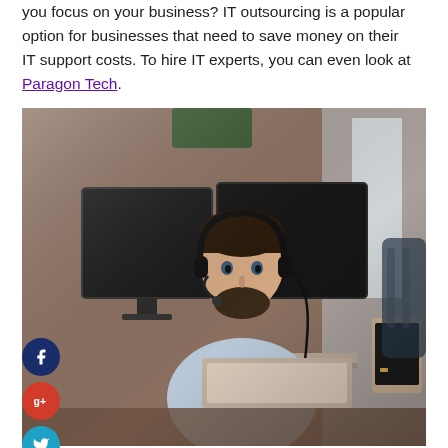you focus on your business? IT outsourcing is a popular option for businesses that need to save money on their IT support costs. To hire IT experts, you can even look at Paragon Tech.
[Figure (photo): Man with headset working at computer workstation with multiple monitors and laptop, social media share buttons (Facebook, Google+, Twitter, plus) visible on the left side]